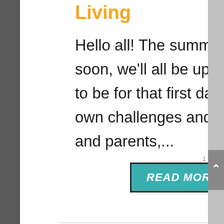Living
Hello all! The summer is winding down and pretty soon, we'll all be up waaaaay sooner than we want to be for that first day of school. Every year offers its own challenges and stressors for students, teachers, and parents,...
READ MORE
July Book Picks with San Antonio Living